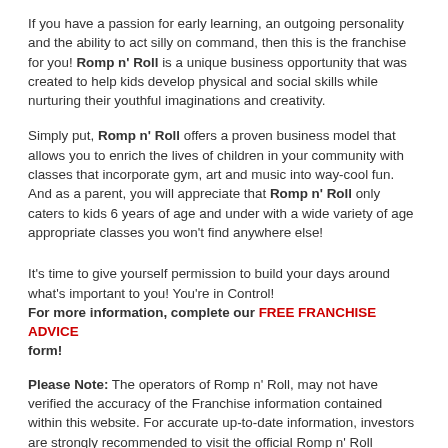If you have a passion for early learning, an outgoing personality and the ability to act silly on command, then this is the franchise for you! Romp n' Roll is a unique business opportunity that was created to help kids develop physical and social skills while nurturing their youthful imaginations and creativity.
Simply put, Romp n' Roll offers a proven business model that allows you to enrich the lives of children in your community with classes that incorporate gym, art and music into way-cool fun. And as a parent, you will appreciate that Romp n' Roll only caters to kids 6 years of age and under with a wide variety of age appropriate classes you won't find anywhere else!
It's time to give yourself permission to build your days around what's important to you! You're in Control!
For more information, complete our FREE FRANCHISE ADVICE form!
Please Note: The operators of Romp n' Roll, may not have verified the accuracy of the Franchise information contained within this website. For accurate up-to-date information, investors are strongly recommended to visit the official Romp n' Roll website.
How much does it cost to open a Romp n' Roll Franchise?